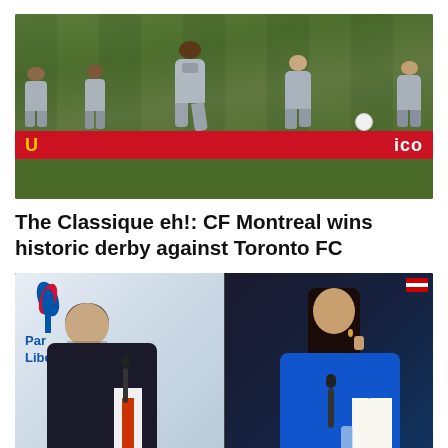[Figure (photo): Soccer players in grey CF Montreal away kits running on a green pitch during a match, with a red advertising board visible in the background showing yellow text.]
The Classique eh!: CF Montreal wins historic derby against Toronto FC
[Figure (photo): Two photos side-by-side: on the left, a man in a dark suit at a press conference in front of a Parti Libéral backdrop; on the right, a woman in a blue jacket speaking at a microphone against a dark background.]